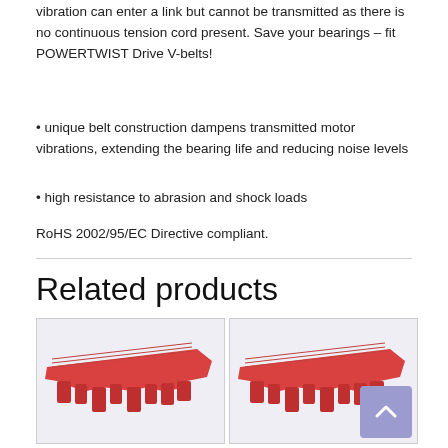vibration can enter a link but cannot be transmitted as there is no continuous tension cord present. Save your bearings – fit POWERTWIST Drive V-belts!
• unique belt construction dampens transmitted motor vibrations, extending the bearing life and reducing noise levels
• high resistance to abrasion and shock loads
RoHS 2002/95/EC Directive compliant.
Related products
[Figure (photo): Red POWERTWIST Drive V-belt link sections showing interlocking teeth, photographed on white/grey background]
[Figure (photo): Red POWERTWIST Drive V-belt link sections showing interlocking teeth, photographed on white/grey background (second product image)]